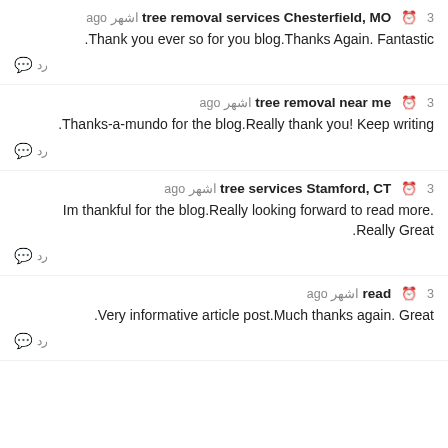tree removal services Chesterfield, MO · 3 اشهر ago
.Thank you ever so for you blog.Thanks Again. Fantastic
tree removal near me · 3 اشهر ago
.Thanks-a-mundo for the blog.Really thank you! Keep writing
tree services Stamford, CT · 3 اشهر ago
Im thankful for the blog.Really looking forward to read more. .Really Great
read · 3 اشهر ago
.Very informative article post.Much thanks again. Great